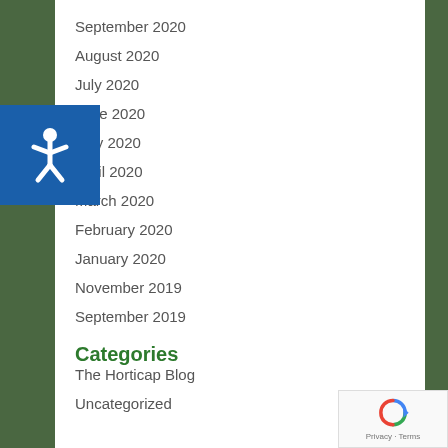September 2020
August 2020
July 2020
June 2020
May 2020
April 2020
March 2020
February 2020
January 2020
November 2019
September 2019
Categories
The Horticap Blog
Uncategorized